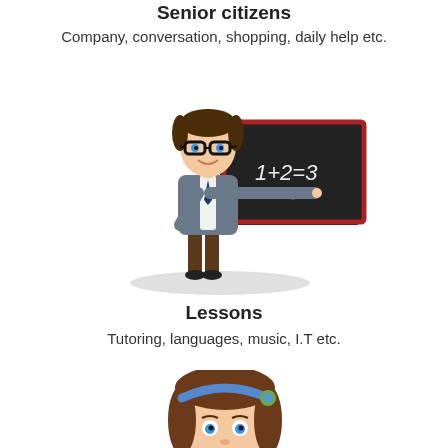Senior citizens
Company, conversation, shopping, daily help etc.
[Figure (illustration): Cartoon illustration of a male teacher with glasses and a suit, pointing at a blackboard that shows '1+2=3', standing on a grey oval shadow]
Lessons
Tutoring, languages, music, I.T etc.
[Figure (illustration): Partial cartoon illustration of a girl with brown hair and a blue headband, cropped at bottom of page]